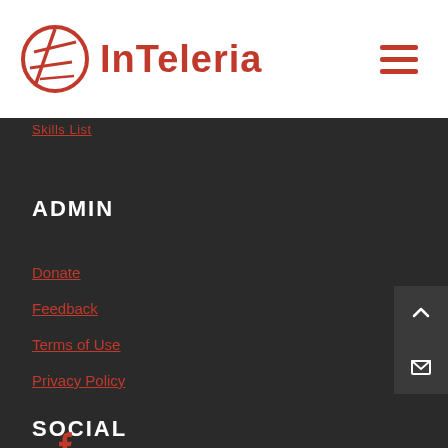InTeleria
Skills List
ADMIN
Donate
Feedback
Terms of Use
Privacy Policy
SOCIAL
[Figure (logo): Facebook icon (letter f)]